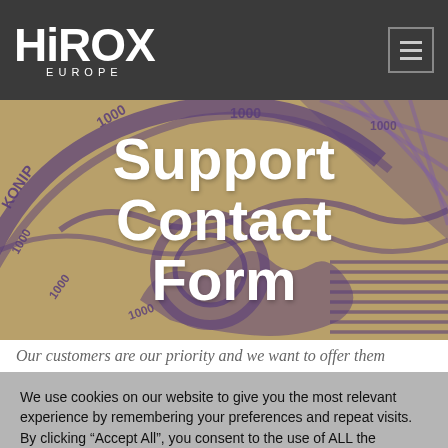HiROX EUROPE
[Figure (photo): Close-up photograph of a coin or medallion with text '1000' and 'ΚΟΝΙΡ' engraved, with purple/gold coloring, used as hero background image]
Support Contact Form
Our customers are our priority and we want to offer them
We use cookies on our website to give you the most relevant experience by remembering your preferences and repeat visits. By clicking “Accept All”, you consent to the use of ALL the cookies. However, you may visit "Cookie Settings" to provide a controlled consent.
Cookie Settings | Accept All